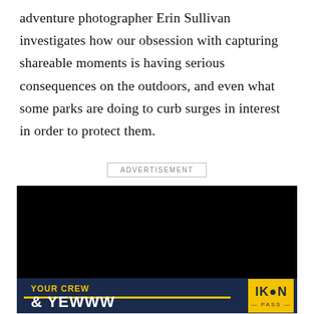adventure photographer Erin Sullivan investigates how our obsession with capturing shareable moments is having serious consequences on the outdoors, and even what some parks are doing to curb surges in interest in order to protect them.
ADVERTISEMENT
[Figure (other): Advertisement banner with dark background and IKON Pass branding. Text reads 'YOUR CREW & YEWWW' in yellow and white bold letters on navy background, with IKON PASS logo on yellow square at right.]